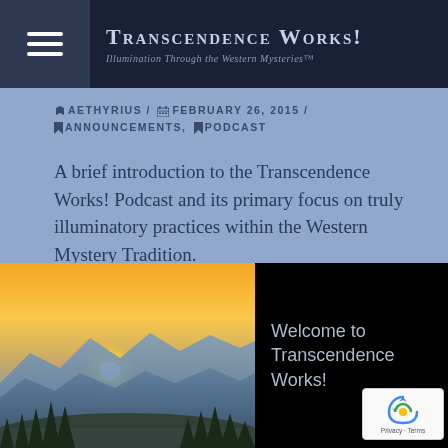Transcendence Works! — Illumination Through the Western Mysteries™
✏ AETHYRIUS / 📅 FEBRUARY 26, 2015 / 🔖 ANNOUNCEMENTS, 🔖 PODCAST
A brief introduction to the Transcendence Works! Podcast and its primary focus on truly illuminatory practices within the Western Mystery Tradition.
[Figure (photo): Sunrise over misty mountain ranges with pine tree silhouettes in the foreground, golden and orange sky with a bright sun.]
[Figure (screenshot): Black video thumbnail panel with text 'Welcome to Transcendence Works!']